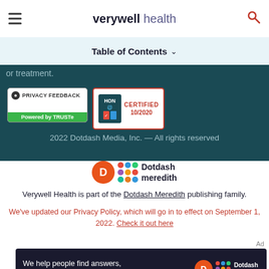verywell health
Table of Contents ∨
or treatment.
[Figure (logo): Privacy Feedback badge powered by TRUSTe]
[Figure (logo): HON Certified 10/2020 badge]
2022 Dotdash Media, Inc. — All rights reserved
[Figure (logo): Dotdash Meredith logo]
Verywell Health is part of the Dotdash Meredith publishing family.
We've updated our Privacy Policy, which will go in to effect on September 1, 2022. Check it out here
Ad
[Figure (screenshot): Dotdash Meredith advertisement banner: We help people find answers, solve problems and get inspired.]